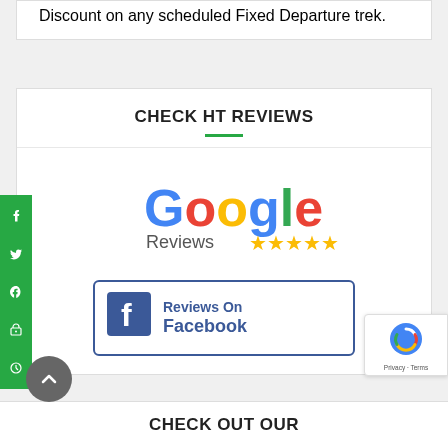Discount on any scheduled Fixed Departure trek.
CHECK HT REVIEWS
[Figure (logo): Google Reviews logo with 5 gold stars]
[Figure (logo): Reviews On Facebook badge with Facebook 'f' icon]
CHECK OUT OUR